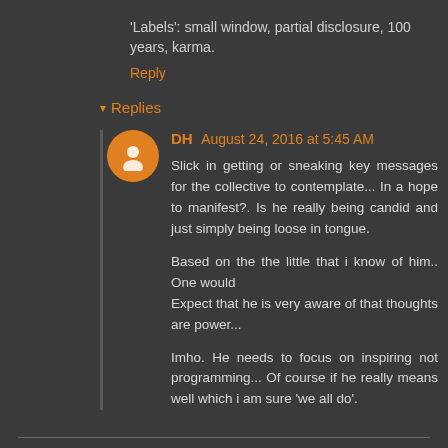'Labels': small window, partial disclosure, 100 years, karma.
Reply
Replies
DH August 24, 2016 at 5:45 AM
Slick in getting or sneaking key messages for the collective to contemplate... In a hope to manifest?. Is he really being candid and just simply being loose in tongue.

Based on the the little that i know of him.. One would
Expect that he is very aware of that thoughts are power...

Imho. He needs to focus on inspiring not programming... Of course if he really means well which i am sure 'we all do'.